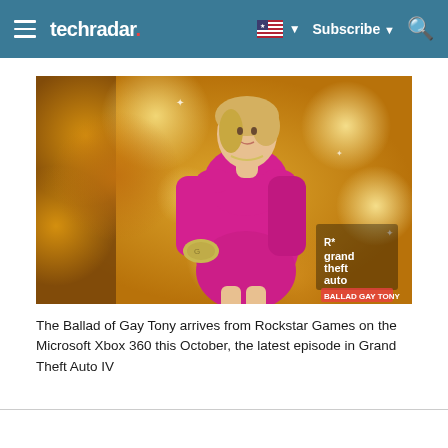techradar | Subscribe | Search
[Figure (illustration): Grand Theft Auto IV: The Ballad of Gay Tony promotional artwork showing a blonde woman in a pink dress against a golden bokeh background, with the Grand Theft Auto logo in the lower right corner.]
The Ballad of Gay Tony arrives from Rockstar Games on the Microsoft Xbox 360 this October, the latest episode in Grand Theft Auto IV